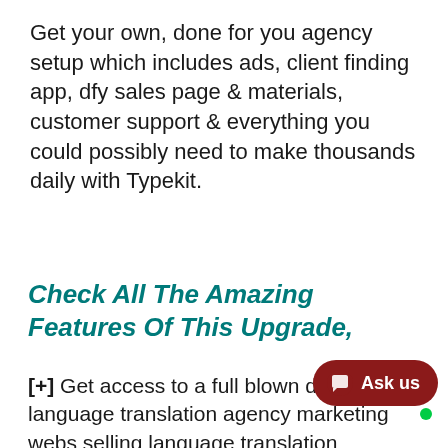Get your own, done for you agency setup which includes ads, client finding app, dfy sales page & materials, customer support & everything you could possibly need to make thousands daily with Typekit.
Check All The Amazing Features Of This Upgrade,
[+] Get access to a full blown dfy language translation agency marketing webs selling language translation services and make money)